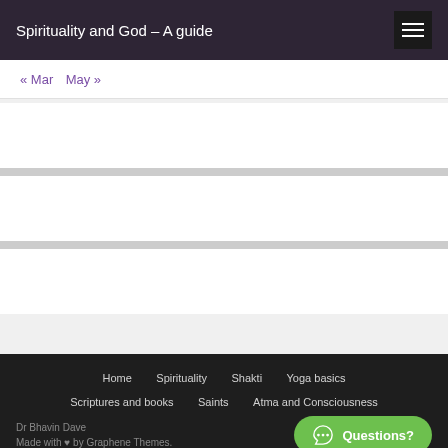Spirituality and God – A guide
« Mar  May »
Home  Spirituality  Shakti  Yoga basics  Scriptures and books  Saints  Atma and Consciousness  Dr Bhavin Dave  Made with ♥ by Graphene Themes.  Questions?